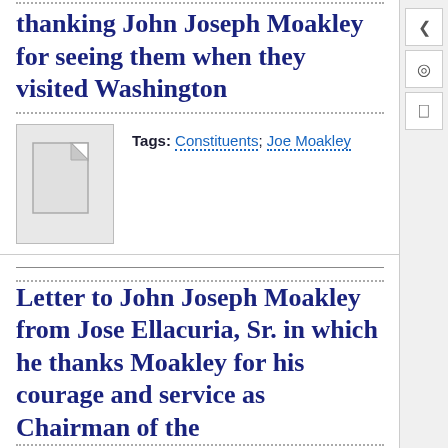thanking John Joseph Moakley for seeing them when they visited Washington
Tags: Constituents; Joe Moakley
[Figure (other): Document thumbnail icon placeholder - grey document icon]
Letter to John Joseph Moakley from Jose Ellacuria, Sr. in which he thanks Moakley for his courage and service as Chairman of the